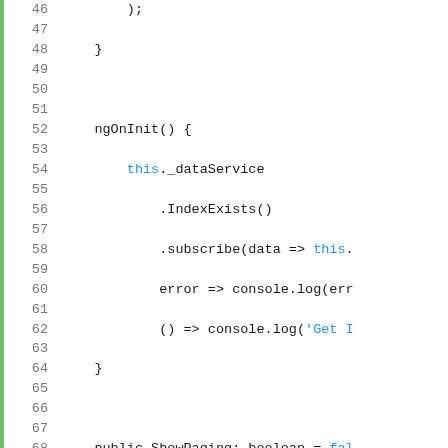[Figure (screenshot): Code editor screenshot showing TypeScript/Angular code lines 46-71 with green gutter bar on left, line numbers in gray, and syntax highlighting (blue keywords, default text)]